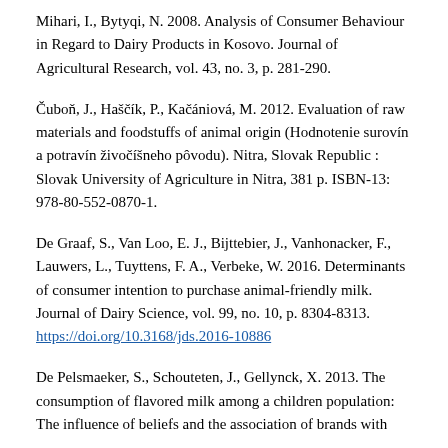Mihari, I., Bytyqi, N. 2008. Analysis of Consumer Behaviour in Regard to Dairy Products in Kosovo. Journal of Agricultural Research, vol. 43, no. 3, p. 281-290.
Čuboň, J., Haščík, P., Kačániová, M. 2012. Evaluation of raw materials and foodstuffs of animal origin (Hodnotenie surovín a potravín živočíšneho pôvodu). Nitra, Slovak Republic : Slovak University of Agriculture in Nitra, 381 p. ISBN-13: 978-80-552-0870-1.
De Graaf, S., Van Loo, E. J., Bijttebier, J., Vanhonacker, F., Lauwers, L., Tuyttens, F. A., Verbeke, W. 2016. Determinants of consumer intention to purchase animal-friendly milk. Journal of Dairy Science, vol. 99, no. 10, p. 8304-8313. https://doi.org/10.3168/jds.2016-10886
De Pelsmaeker, S., Schouteten, J., Gellynck, X. 2013. The consumption of flavored milk among a children population: The influence of beliefs and the association of brands with